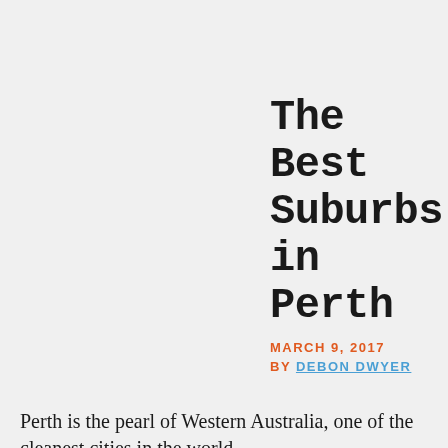The Best Suburbs in Perth
MARCH 9, 2017
BY DEBON DWYER
Perth is the pearl of Western Australia, one of the cleanest cities in the world.